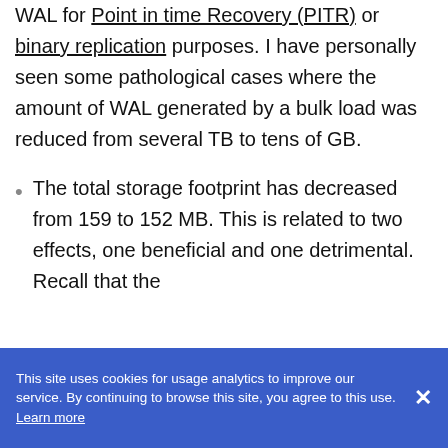WAL for Point in time Recovery (PITR) or binary replication purposes. I have personally seen some pathological cases where the amount of WAL generated by a bulk load was reduced from several TB to tens of GB.
The total storage footprint has decreased from 159 to 152 MB. This is related to two effects, one beneficial and one detrimental. Recall that the
This site uses cookies for usage analytics to improve our service. By continuing to browse this site, you agree to this use. Learn more